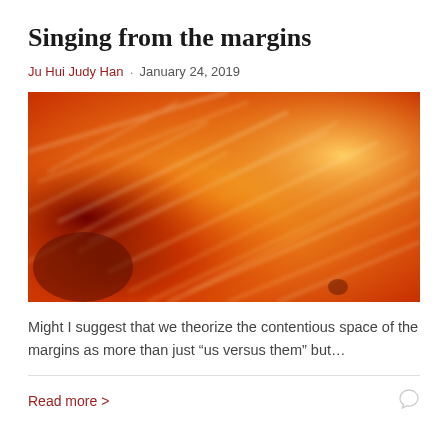Singing from the margins
Ju Hui Judy Han · January 24, 2019
[Figure (photo): Close-up abstract photograph of orange and red fibrous or flame-like textures with lighter streaks]
Might I suggest that we theorize the contentious space of the margins as more than just “us versus them” but…
Read more >